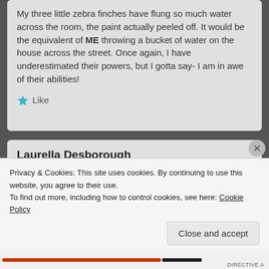My three little zebra finches have flung so much water across the room, the paint actually peeled off. It would be the equivalent of ME throwing a bucket of water on the house across the street. Once again, I have underestimated their powers, but I gotta say- I am in awe of their abilities!
Like
Laurella Desborough
February 24, 2012 at 8:38 pm
Education is the key to most of the above NON-educated comments from people who think they
Privacy & Cookies: This site uses cookies. By continuing to use this website, you agree to their use.
To find out more, including how to control cookies, see here: Cookie Policy
Close and accept